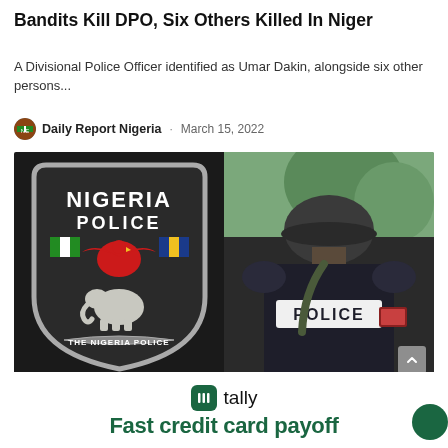Bandits Kill DPO, Six Others Killed In Niger
A Divisional Police Officer identified as Umar Dakin, alongside six other persons...
Daily Report Nigeria · March 15, 2022
[Figure (photo): Left: Nigeria Police badge/emblem on black background. Right: Nigerian police officer in tactical gear with helmet, back view, 'POLICE' written on vest.]
tally
Fast credit card payoff